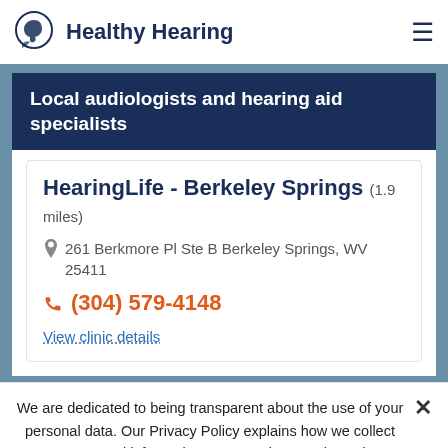Healthy Hearing
Local audiologists and hearing aid specialists
HearingLife - Berkeley Springs (1.9 miles)
261 Berkmore Pl Ste B Berkeley Springs, WV 25411
(304) 579-4148
View clinic details
We are dedicated to being transparent about the use of your personal data. Our Privacy Policy explains how we collect your personal information to customize your browsing experience. Read more.